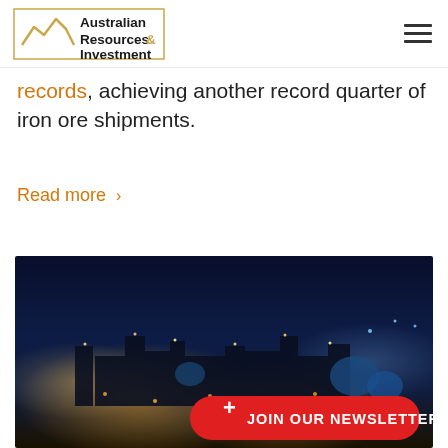Australian Resources & Investment
records, achieving another record quarter of iron ore shipments.
Read more >
[Figure (photo): Aerial night view of an industrial mining or processing facility with bright orange, yellow and blue lights illuminating large structures and equipment. A red pill-shaped button reading '+ JOIN OUR NEWSLETTER' is overlaid in the bottom right.]